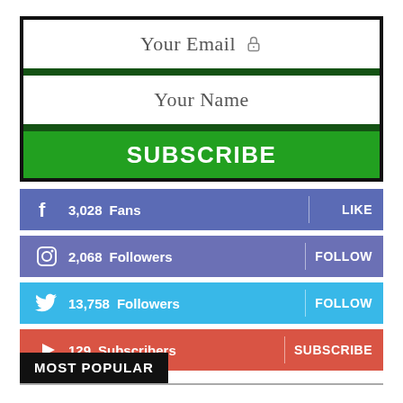Your Email
Your Name
SUBSCRIBE
3,028 Fans  LIKE
2,068 Followers  FOLLOW
13,758 Followers  FOLLOW
129 Subscribers  SUBSCRIBE
MOST POPULAR